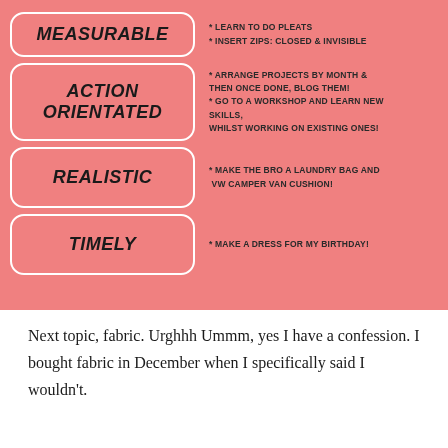MEASURABLE
* LEARN TO DO PLEATS
* INSERT ZIPS: CLOSED & INVISIBLE
ACTION ORIENTATED
* ARRANGE PROJECTS BY MONTH & THEN ONCE DONE, BLOG THEM!
* GO TO A WORKSHOP AND LEARN NEW SKILLS, WHILST WORKING ON EXISTING ONES!
REALISTIC
* MAKE THE BRO A LAUNDRY BAG AND VW CAMPER VAN CUSHION!
TIMELY
* MAKE A DRESS FOR MY BIRTHDAY!
Next topic, fabric. Urghhh Ummm, yes I have a confession. I bought fabric in December when I specifically said I wouldn't.